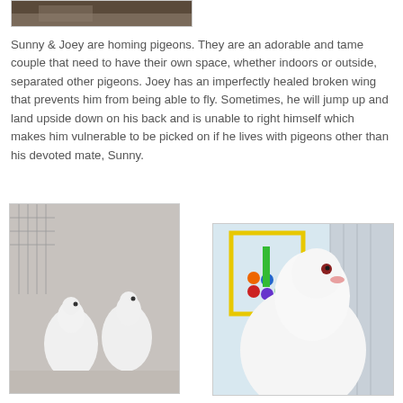[Figure (photo): Partial top photo of a bird/animal, cropped at top of page]
Sunny & Joey are homing pigeons. They are an adorable and tame couple that need to have their own space, whether indoors or outside, separated other pigeons. Joey has an imperfectly healed broken wing that prevents him from being able to fly. Sometimes, he will jump up and land upside down on his back and is unable to right himself which makes him vulnerable to be picked on if he lives with pigeons other than his devoted mate, Sunny.
[Figure (photo): Two white homing pigeons standing in a cage with wire mesh background]
[Figure (photo): Close-up of a white pigeon's head and body with colorful toys in background]